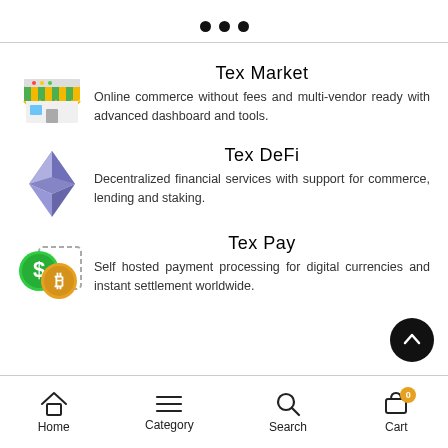[Figure (infographic): Three pagination dots indicating a carousel position]
Tex Market
Online commerce without fees and multi-vendor ready with advanced dashboard and tools.
Tex DeFi
Decentralized financial services with support for commerce, lending and staking.
Tex Pay
Self hosted payment processing for digital currencies and instant settlement worldwide.
Home   Category   Search   Cart